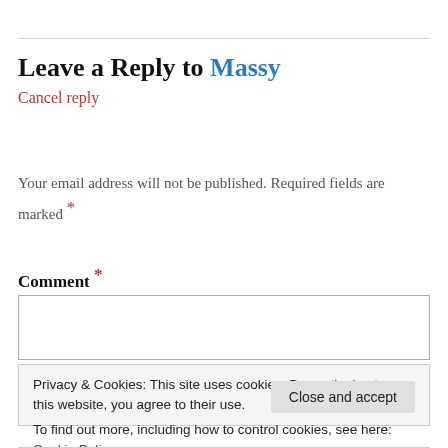Leave a Reply to Massy
Cancel reply
Your email address will not be published. Required fields are marked *
Comment *
Privacy & Cookies: This site uses cookies. By continuing to use this website, you agree to their use. To find out more, including how to control cookies, see here: Cookie Policy
Close and accept